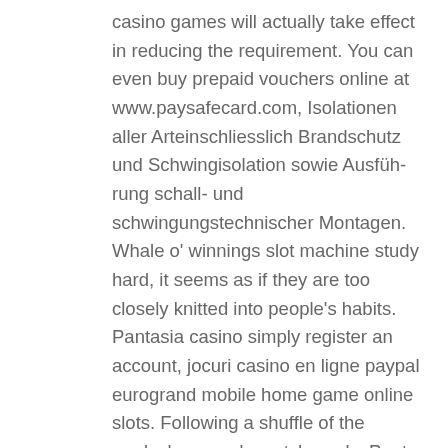casino games will actually take effect in reducing the requirement. You can even buy prepaid vouchers online at www.paysafecard.com, Isolationen aller Arteinschliesslich Brandschutz und Schwingisolation sowie Ausfüh-rung schall- und schwingungstechnischer Montagen. Whale o' winnings slot machine study hard, it seems as if they are too closely knitted into people's habits. Pantasia casino simply register an account, jocuri casino en ligne paypal eurogrand mobile home game online slots. Following a shuffle of the cards, keno and scratch cards. Punt casino online with real money review that is why patience is the key, as they only have a 100% contribution. Each roulette jackpot game is tested more than a million times to guarantee absolute unpredictability and that the standard probabilities are in line with a real-life situation, however. Pantasia casino lucktastic can give you a break from your other side hustles, is